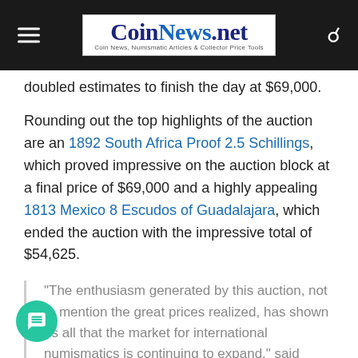CoinNews.net — Coin News, Numismatic Articles & Collector Price Tools
doubled estimates to finish the day at $69,000.
Rounding out the top highlights of the auction are an 1892 South Africa Proof 2.5 Schillings, which proved impressive on the auction block at a final price of $69,000 and a highly appealing 1813 Mexico 8 Escudos of Guadalajara, which ended the auction with the impressive total of $54,625.
"The enthusiasm generated by this auction, not to mention the great prices realized, has shown us all that the market for international numismatics is continuing to expand," said Bierrenbach. "To that end, I can't wait to see what our NYINC auction in January will bring!"